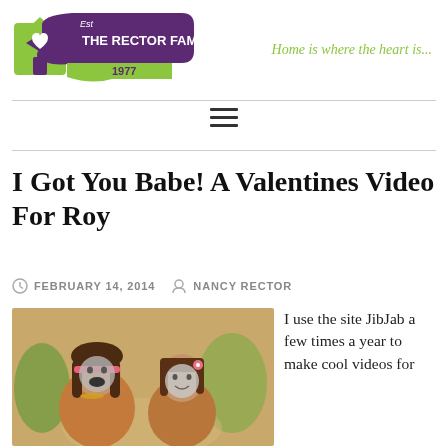[Figure (logo): The Rector Family blog logo — purple banner with house icon, Est 1977]
Home is where the heart is...
I Got You Babe! A Valentines Video For Roy
FEBRUARY 14, 2014   NANCY RECTOR
[Figure (photo): Two people with novelty hippie wigs and face masks in a JibJab-style animated video still]
I use the site JibJab a few times a year to make cool videos for